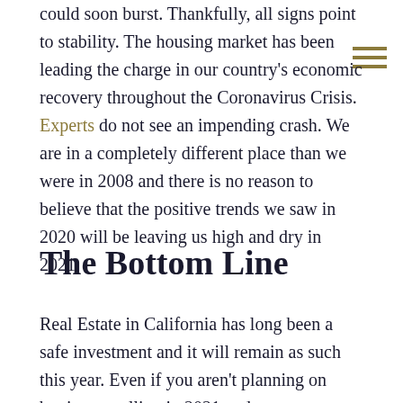could soon burst. Thankfully, all signs point to stability. The housing market has been leading the charge in our country's economic recovery throughout the Coronavirus Crisis. Experts do not see an impending crash. We are in a completely different place than we were in 2008 and there is no reason to believe that the positive trends we saw in 2020 will be leaving us high and dry in 2021.
The Bottom Line
Real Estate in California has long been a safe investment and it will remain as such this year. Even if you aren't planning on buying or selling in 2021 and you are currently a homeowner, you can expect to see your home value rise in this current market. If you aren't sure what your goals are for this year, maybe investing in Real Estate can be added to your